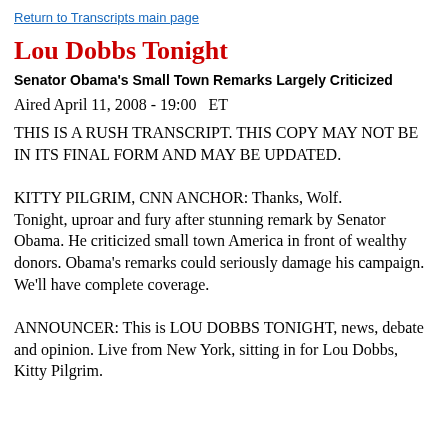Return to Transcripts main page
Lou Dobbs Tonight
Senator Obama's Small Town Remarks Largely Criticized
Aired April 11, 2008 - 19:00   ET
THIS IS A RUSH TRANSCRIPT. THIS COPY MAY NOT BE IN ITS FINAL FORM AND MAY BE UPDATED.
KITTY PILGRIM, CNN ANCHOR: Thanks, Wolf.
Tonight, uproar and fury after stunning remark by Senator Obama. He criticized small town America in front of wealthy donors. Obama's remarks could seriously damage his campaign. We'll have complete coverage.
ANNOUNCER: This is LOU DOBBS TONIGHT, news, debate and opinion. Live from New York, sitting in for Lou Dobbs, Kitty Pilgrim.